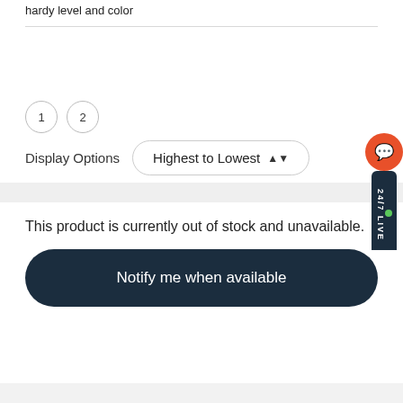hardy level and color
1  2
Display Options  Highest to Lowest
This product is currently out of stock and unavailable.
Notify me when available